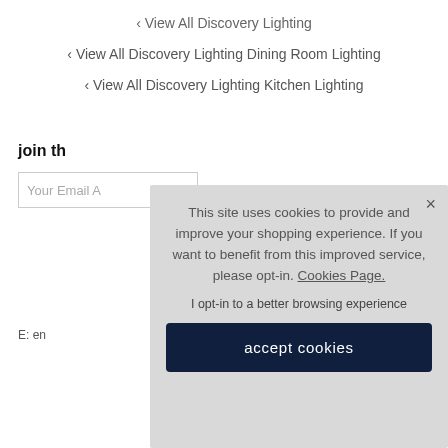‹ View All Discovery Lighting
‹ View All Discovery Lighting Dining Room Lighting
‹ View All Discovery Lighting Kitchen Lighting
join th
Your Email A
E: en
This site uses cookies to provide and improve your shopping experience. If you want to benefit from this improved service, please opt-in. Cookies Page.

I opt-in to a better browsing experience

accept cookies